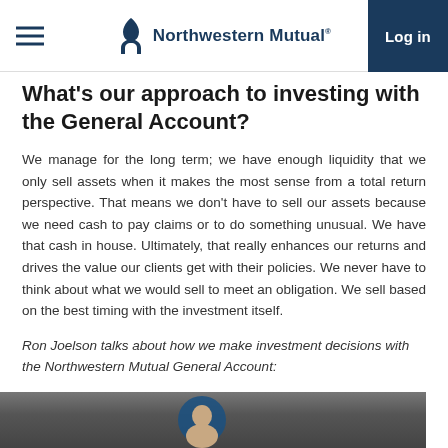Northwestern Mutual — Log in
What's our approach to investing with the General Account?
We manage for the long term; we have enough liquidity that we only sell assets when it makes the most sense from a total return perspective. That means we don't have to sell our assets because we need cash to pay claims or to do something unusual. We have that cash in house. Ultimately, that really enhances our returns and drives the value our clients get with their policies. We never have to think about what we would sell to meet an obligation. We sell based on the best timing with the investment itself.
Ron Joelson talks about how we make investment decisions with the Northwestern Mutual General Account:
[Figure (photo): Photo of a person (Ron Joelson), cropped at bottom of page, showing head and shoulders with blue circle/background element]